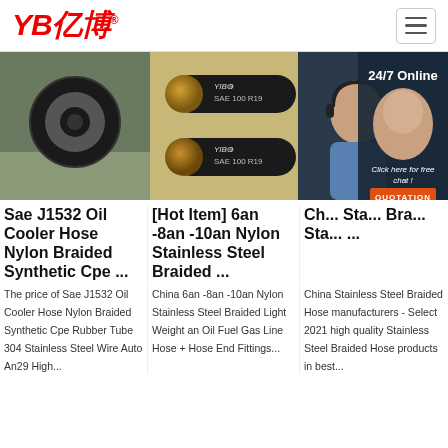[Figure (logo): YB亿博 logo in red with registered trademark symbol]
[Figure (photo): Close-up photo of a black rubber hydraulic hose cross-section]
[Figure (photo): Two YIBO SAE 100 R19 hydraulic hoses with gold braided ends]
[Figure (photo): 24/7 Online customer service agent with headset, dark teal background, click here for free chat button, QUOTATION orange button]
Sae J1532 Oil Cooler Hose Nylon Braided Synthetic Cpe ...
[Hot Item] 6an -8an -10an Nylon Stainless Steel Braided ...
Ch... Sta... Bra... Sta... ...
The price of Sae J1532 Oil Cooler Hose Nylon Braided Synthetic Cpe Rubber Tube 304 Stainless Steel Wire Auto An29 High...
China 6an -8an -10an Nylon Stainless Steel Braided Light Weight an Oil Fuel Gas Line Hose + Hose End Fittings...
China Stainless Steel Braided Hose manufacturers - Select 2021 high quality Stainless Steel Braided Hose products in best...